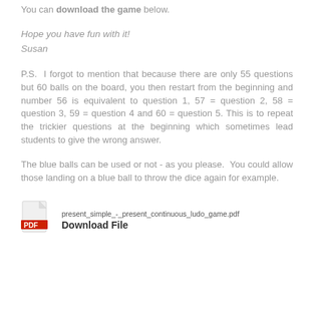You can download the game below.
Hope you have fun with it!
Susan
P.S.  I forgot to mention that because there are only 55 questions but 60 balls on the board, you then restart from the beginning and number 56 is equivalent to question 1, 57 = question 2, 58 = question 3, 59 = question 4 and 60 = question 5. This is to repeat the trickier questions at the beginning which sometimes lead students to give the wrong answer.
The blue balls can be used or not - as you please.  You could allow those landing on a blue ball to throw the dice again for example.
[Figure (other): PDF file icon for downloading present_simple_-_present_continuous_ludo_game.pdf]
present_simple_-_present_continuous_ludo_game.pdf
Download File